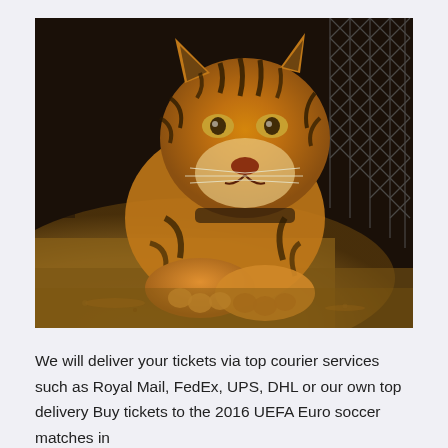[Figure (photo): A young tiger cub lying on sandy ground next to a chain-link fence, facing forward with orange and black striped fur visible. Background is dark.]
We will deliver your tickets via top courier services such as Royal Mail, FedEx, UPS, DHL or our own top delivery Buy tickets to the 2016 UEFA Euro soccer matches in